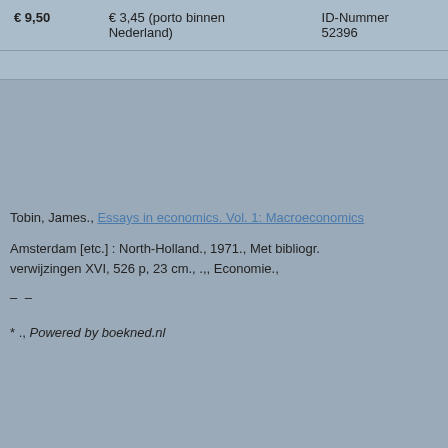| Prijs | Porto | ID |
| --- | --- | --- |
| € 9,50 | € 3,45 (porto binnen Nederland) | ID-Nummer
52396 |
Tobin, James., Essays in economics. Vol. 1: Macroeconomics
Amsterdam [etc.] : North-Holland., 1971., Met bibliogr. verwijzingen XVI, 526 p, 23 cm., ,., Economie.,
– –
* ., Powered by boekned.nl